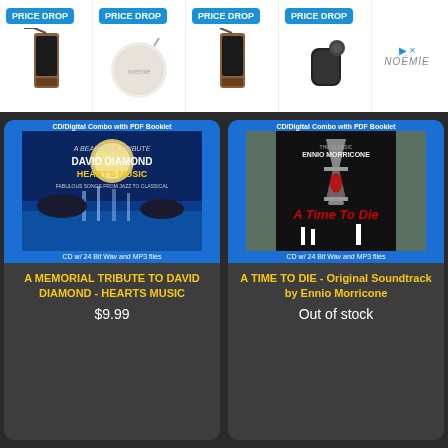[Figure (screenshot): Advertisement banner showing 4 product items with PRICE DROP badges (leather phone cases and accessories) and Noémie brand logo on right side]
[Figure (photo): Album art for A Memorial Tribute to David Diamond - Hearts Music CD. Blue background with waterfall landscape and CD/Digital Combo with PDF Booklet label at top, CD w/ 24 Bit Wav and MP3 files at bottom.]
A MEMORIAL TRIBUTE TO DAVID DIAMOND - HEARTS MUSIC
$9.99
[Figure (photo): Album art for A Time To Die - Original Soundtrack by Ennio Morricone. Black and white movie poster style with hourglass image, red text 'A Time To Die'. CD/Digital Combo with PDF Booklet label at top, CD w/ 24 Bit Wav and MP3 files at bottom.]
A TIME TO DIE - Original Soundtrack by Ennio Morricone
Out of stock